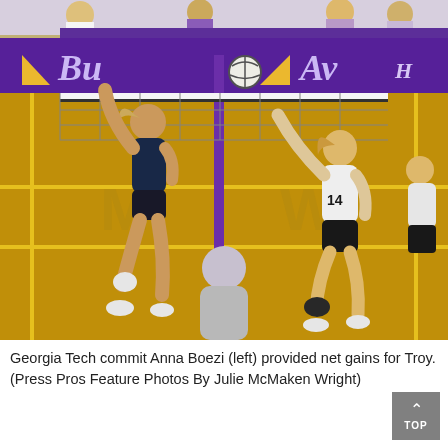[Figure (photo): Volleyball match photo showing two players at the net — a player in dark uniform (left) jumping and reaching up to hit or block the ball, and a player in white/gold uniform (right, number 14) reaching up from the other side. A referee or coach is visible at the bottom center. Purple banners with logos reading 'BU' and 'AV' are in the background. The court has yellow lines on a hardwood floor.]
Georgia Tech commit Anna Boezi (left) provided net gains for Troy. (Press Pros Feature Photos By Julie McMaken Wright)